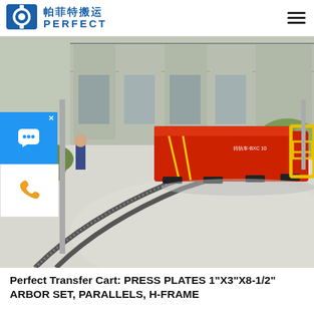帕菲特搬运 PERFECT
[Figure (photo): A large red industrial transfer cart on curved rails at an outdoor industrial facility. A person in blue clothing stands to the left. A yellow safety barrier is attached to the right side of the cart. The facility has a large metal-roofed building in the background with green shrubbery and trees.]
Perfect Transfer Cart: PRESS PLATES 1"X3"X8-1/2" ARBOR SET, PARALLELS, H-FRAME